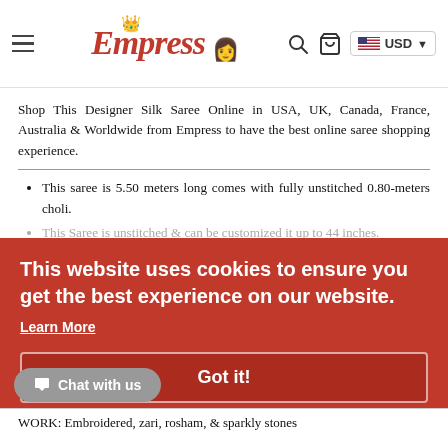Empress (logo) — Navigation bar with hamburger menu, search, cart, and USD currency selector
Shop This Designer Silk Saree Online in USA, UK, Canada, France, Australia & Worldwide from Empress to have the best online saree shopping experience.
This saree is 5.50 meters long comes with fully unstitched 0.80-meters choli.
This Saree is unstitched & can be customized it up to 44 inches.
Silk Designer Saree
This website uses cookies to ensure you get the best experience on our website.
Learn More
Got it!
Chat with us
WORK: Embroidered, zari, rosham, & sparkly stones